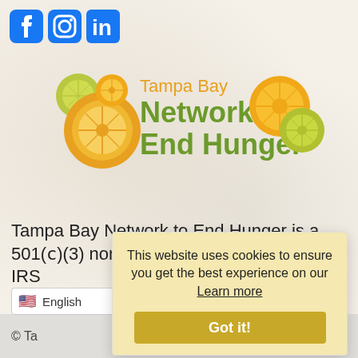[Figure (logo): Social media icons: Facebook, Instagram, LinkedIn in blue]
[Figure (logo): Tampa Bay Network To End Hunger logo with citrus fruit illustrations. Orange text 'Tampa Bay', green bold text 'Network To End Hunger']
Tampa Bay Network to End Hunger is a 501(c)(3) nonprofit organization by the IRS
English (language selector dropdown)
This website uses cookies to ensure you get the best experience on our Learn more
Got it!
© Ta...